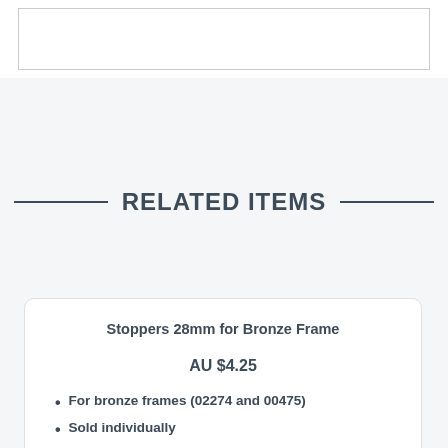[Figure (other): Empty white box with border, product image placeholder]
RELATED ITEMS
Stoppers 28mm for Bronze Frame
AU $4.25
For bronze frames (02274 and 00475)
Sold individually